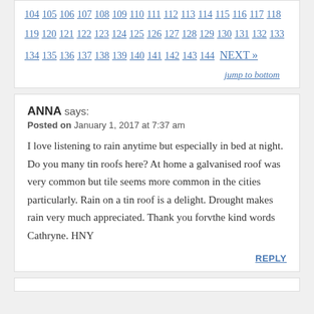104 105 106 107 108 109 110 111 112 113 114 115 116 117 118 119 120 121 122 123 124 125 126 127 128 129 130 131 132 133 134 135 136 137 138 139 140 141 142 143 144 NEXT »
jump to bottom
ANNA says:
Posted on January 1, 2017 at 7:37 am

I love listening to rain anytime but especially in bed at night. Do you many tin roofs here? At home a galvanised roof was very common but tile seems more common in the cities particularly. Rain on a tin roof is a delight. Drought makes rain very much appreciated. Thank you forvthe kind words Cathryne. HNY

REPLY